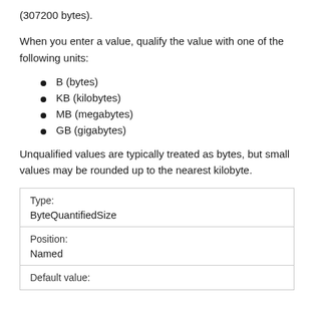(307200 bytes).
When you enter a value, qualify the value with one of the following units:
B (bytes)
KB (kilobytes)
MB (megabytes)
GB (gigabytes)
Unqualified values are typically treated as bytes, but small values may be rounded up to the nearest kilobyte.
| Type: | ByteQuantifiedSize |
| Position: | Named |
| Default value: |  |